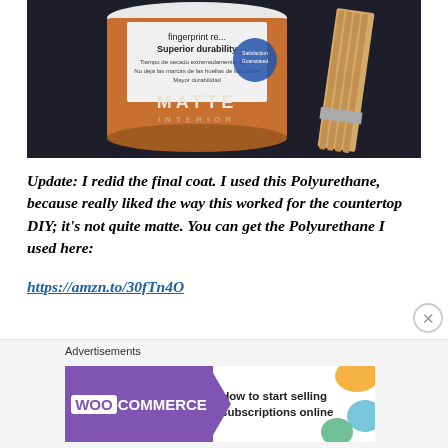[Figure (photo): Photo of a paint can labeled MATTE INTERIOR with a paint brush on the right side, against a dark background]
Update: I redid the final coat. I used this Polyurethane, because really liked the way this worked for the countertop DIY; it’s not quite matte. You can get the Polyurethane I used here:
https://amzn.to/30fTn4O
[Figure (screenshot): WooCommerce advertisement banner reading: How to start selling subscriptions online]